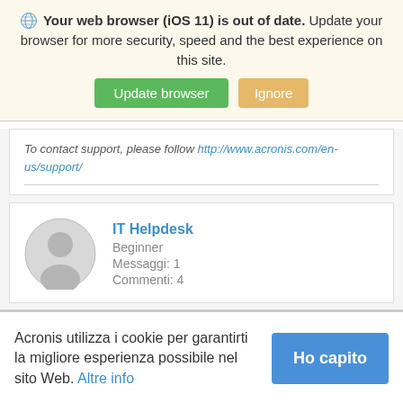Your web browser (iOS 11) is out of date. Update your browser for more security, speed and the best experience on this site.
[Figure (screenshot): Two buttons: 'Update browser' (green) and 'Ignore' (orange/tan)]
To contact support, please follow http://www.acronis.com/en-us/support/
IT Helpdesk
Beginner
Messaggi: 1
Commenti: 4
Acronis utilizza i cookie per garantirti la migliore esperienza possibile nel sito Web. Altre info
[Figure (screenshot): Button: Ho capito (blue)]